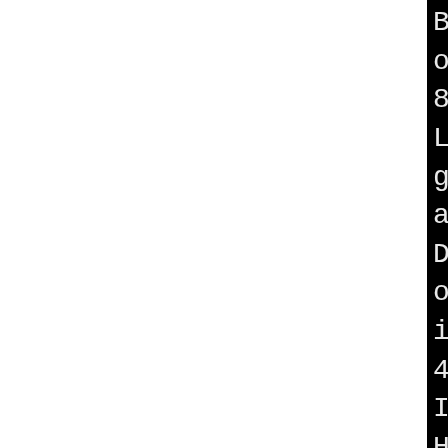[Figure (screenshot): Terminal/build output showing compiler commands for VirtualBox kernel module build, including gcc invocations with paths containing B.4b238dcd-8ab5-4c0f-94c7-a27717845b45/BUILD/VirtualBox-4.3.20/PLD-MODULE-BUILD/HostDrivers/vboxdrv paths]